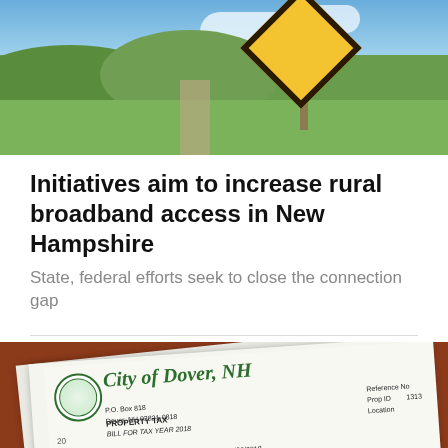[Figure (photo): Rural road scene with yellow diamond warning sign, green fields, hills, and blue sky]
Initiatives aim to increase rural broadband access in New Hampshire
State, federal efforts seek to close the connection gap
[Figure (photo): City of Dover, NH property tax bill for tax year 2018, showing tax rate information per $1,000 of net assessed value including City 9.37 $1,903.98, County 2.61 $530.35, Local School 10.88 $2,210.81, State School 2.06 $418.60, and Net Property Tax 24.92]